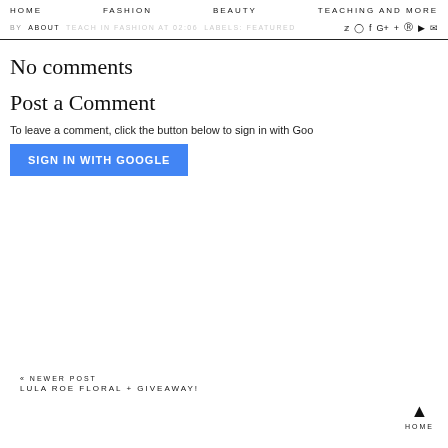HOME  FASHION  BEAUTY  TEACHING AND MORE  ABOUT  TEACH IN FASHION AT 02:06  LABELS: FEATURED
No comments
Post a Comment
To leave a comment, click the button below to sign in with Goo
SIGN IN WITH GOOGLE
« NEWER POST
LULA ROE FLORAL + GIVEAWAY!
HOME